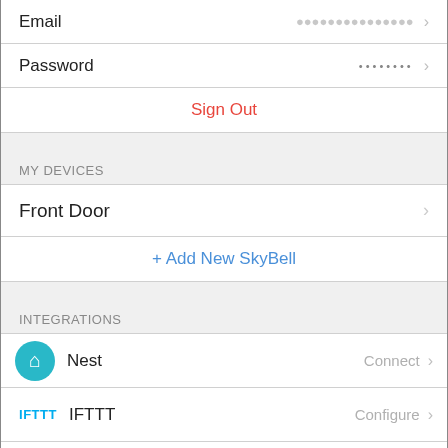Email
Password
Sign Out
MY DEVICES
Front Door
+ Add New SkyBell
INTEGRATIONS
Nest   Connect
IFTTT   Configure
Kevo   More Info